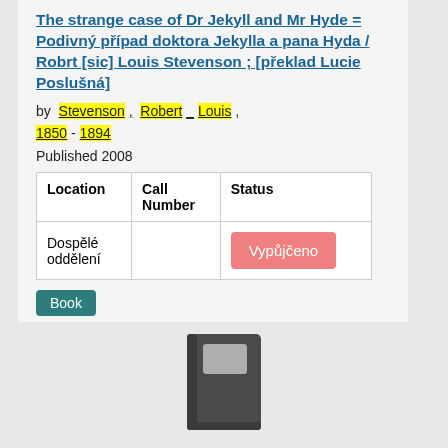The strange case of Dr Jekyll and Mr Hyde = Podivný případ doktora Jekylla a pana Hyda / Robrt [sic] Louis Stevenson ; [překlad Lucie Poslušná]
by Stevenson , Robert Louis , 1850 - 1894
Published 2008
| Location | Call Number | Status |
| --- | --- | --- |
| Dospělé oddělení |  | Vypůjčeno |
Book
[Figure (illustration): Book icon — dark grey notebook/book with a lighter grey label on the cover]
Hodnotit